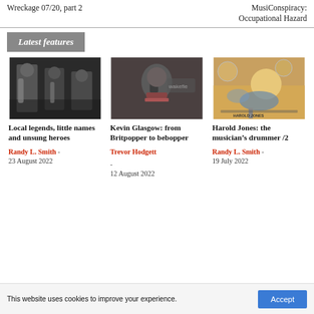Wreckage 07/20, part 2
MusiConspiracy: Occupational Hazard
Latest features
[Figure (photo): Black and white photo of jazz musicians playing instruments]
Local legends, little names and unsung heroes
Randy L. Smith - 23 August 2022
[Figure (photo): Young man playing electric guitar in front of a Wakefield sign]
Kevin Glasgow: from Britpopper to bebopper
Trevor Hodgett - 12 August 2022
[Figure (photo): Harold Jones smiling behind a drum kit, with portraits in the background]
Harold Jones: the musician’s drummer /2
Randy L. Smith - 19 July 2022
This website uses cookies to improve your experience.